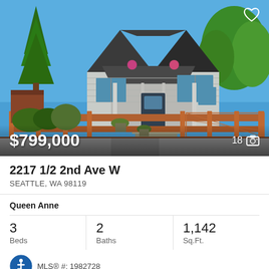[Figure (photo): Exterior photo of a craftsman-style house with gray siding, wood fence, hanging flower baskets, and landscaping under a clear blue sky. Price overlay shows $799,000 and photo count 18.]
2217 1/2 2nd Ave W
SEATTLE, WA 98119
Queen Anne
3 Beds  2 Baths  1,142 Sq.Ft.
MLS® #: 1982728